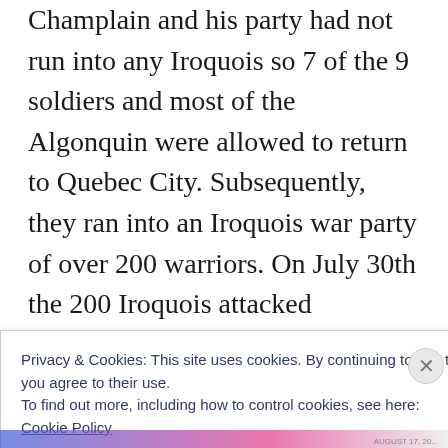Champlain and his party had not run into any Iroquois so 7 of the 9 soldiers and most of the Algonquin were allowed to return to Quebec City. Subsequently, they ran into an Iroquois war party of over 200 warriors. On July 30th the 200 Iroquois attacked Champlain, his 2 soldiers and his 30 Algonquin warriors near present-day Crown Point, NY. Champlain fired his arquebus at them and killed 2 of the Iroquois leaders with one shot. This was the first encounter that the Iroquois had experienced
Privacy & Cookies: This site uses cookies. By continuing to use this website, you agree to their use.
To find out more, including how to control cookies, see here: Cookie Policy
Close and accept